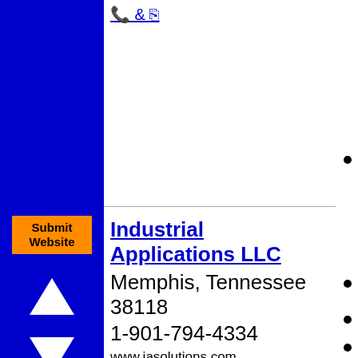[Figure (illustration): Phone/fax icons with '& I' text in blue, underlined, shown in top header area]
[Figure (illustration): Orange 'Submit Website' button on blue sidebar]
[Figure (illustration): White upward-pointing triangle arrow on blue sidebar]
[Figure (illustration): White downward-pointing triangle arrow on blue sidebar]
Industrial Applications LLC
Memphis, Tennessee 38118
1-901-794-4334
www.iasolutions.com
Located in Shelby County